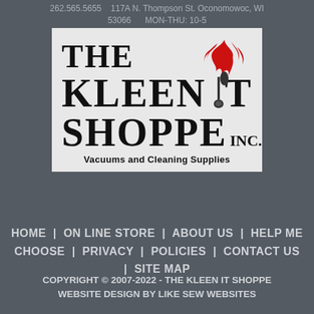262.565.5655    117A N. Thompson St. Oconomowoc, WI 53066    MON-THU: 10-5
[Figure (logo): The Kleen It Shoppe Inc. logo - large serif text with a red flame/mop graphic above the 'I' in Kleen, on a light grey background. Tagline: Vacuums and Cleaning Supplies]
HOME  |  ON LINE STORE  |  ABOUT US  |  HELP ME CHOOSE  |  PRIVACY  |  POLICIES  |  CONTACT US  |  SITE MAP
COPYRIGHT © 2007-2022 - THE KLEEN IT SHOPPE WEBSITE DESIGN BY LIKE SEW WEBSITES